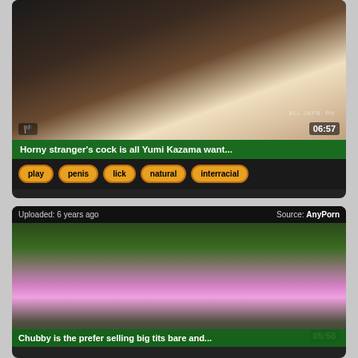[Figure (screenshot): Video thumbnail showing two people kissing]
Horny stranger's cock is all Yumi Kazama want...
play
penis
lick
natural
interracial
Uploaded: 6 years ago    Source: AnyPorn
[Figure (screenshot): Video thumbnail showing a woman outdoors in pink skirt]
Chubby is the prefer selling big tits bare and...